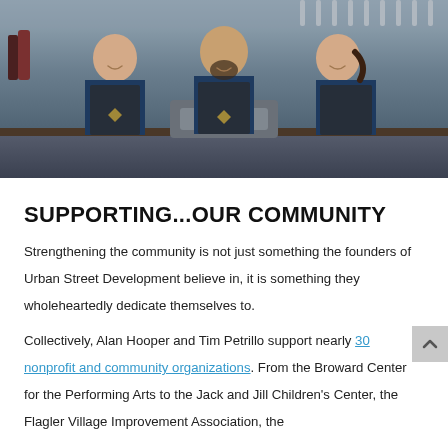[Figure (photo): Three restaurant/bar staff members wearing navy blue shirts and dark aprons standing behind a bar counter with tap handles and bottles visible in the background. Two men and one woman, smiling.]
SUPPORTING...OUR COMMUNITY
Strengthening the community is not just something the founders of Urban Street Development believe in, it is something they wholeheartedly dedicate themselves to.
Collectively, Alan Hooper and Tim Petrillo support nearly 30 nonprofit and community organizations. From the Broward Center for the Performing Arts to the Jack and Jill Children’s Center, the Flagler Village Improvement Association, the